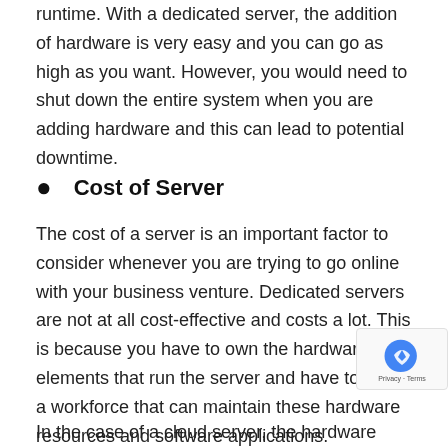runtime. With a dedicated server, the addition of hardware is very easy and you can go as high as you want. However, you would need to shut down the entire system when you are adding hardware and this can lead to potential downtime.
Cost of Server
The cost of a server is an important factor to consider whenever you are trying to go online with your business venture. Dedicated servers are not at all cost-effective and costs a lot. This is because you have to own the hardware elements that run the server and have to have a workforce that can maintain these hardware resources and software applications.
In the case of a cloud server, the hardware resources